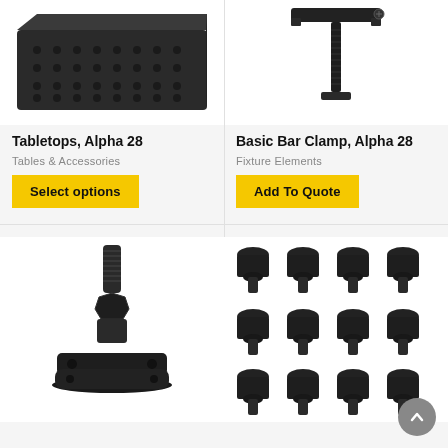[Figure (photo): Black perforated metal tabletop plate, Alpha 28 series, seen from above at slight angle]
Tabletops, Alpha 28
Tables & Accessories
Select options
[Figure (photo): Black bar clamp tool with T-bar top and threaded post, Alpha 28 series]
Basic Bar Clamp, Alpha 28
Fixture Elements
Add To Quote
[Figure (photo): Black metal threaded stud with square base plate and hex nut, a fixturing foot component]
[Figure (photo): Set of 12 black steel socket head cap screws arranged in a 4×3 grid]